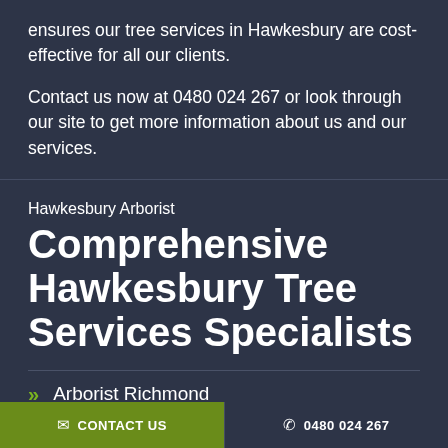ensures our tree services in Hawkesbury are cost-effective for all our clients.
Contact us now at 0480 024 267 or look through our site to get more information about us and our services.
Hawkesbury Arborist
Comprehensive Hawkesbury Tree Services Specialists
Arborist Richmond
CONTACT US   0480 024 267